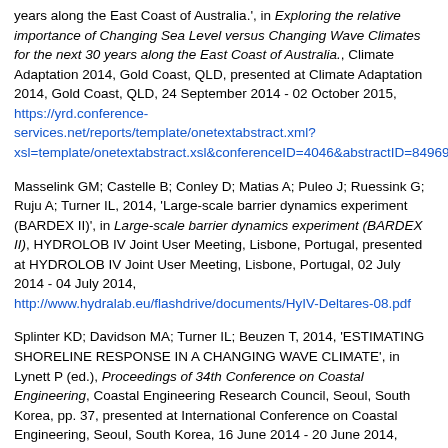years along the East Coast of Australia.', in Exploring the relative importance of Changing Sea Level versus Changing Wave Climates for the next 30 years along the East Coast of Australia., Climate Adaptation 2014, Gold Coast, QLD, presented at Climate Adaptation 2014, Gold Coast, QLD, 24 September 2014 - 02 October 2015, https://yrd.conference-services.net/reports/template/onetextabstract.xml?xsl=template/onetextabstract.xsl&conferenceID=4046&abstractID=849695
Masselink GM; Castelle B; Conley D; Matias A; Puleo J; Ruessink G; Ruju A; Turner IL, 2014, 'Large-scale barrier dynamics experiment (BARDEX II)', in Large-scale barrier dynamics experiment (BARDEX II), HYDROLOB IV Joint User Meeting, Lisbone, Portugal, presented at HYDROLOB IV Joint User Meeting, Lisbone, Portugal, 02 July 2014 - 04 July 2014, http://www.hydralab.eu/flashdrive/documents/HyIV-Deltares-08.pdf
Splinter KD; Davidson MA; Turner IL; Beuzen T, 2014, 'ESTIMATING SHORELINE RESPONSE IN A CHANGING WAVE CLIMATE', in Lynett P (ed.), Proceedings of 34th Conference on Coastal Engineering, Coastal Engineering Research Council, Seoul, South Korea, pp. 37, presented at International Conference on Coastal Engineering, Seoul, South Korea, 16 June 2014 - 20 June 2014, https://journals.tdl.org/icce/index.php/icce/issue/view/362/showToc
Barnard PL; Short AD; Harley MD; Allan J; Banno M; Bryan K; Hansen J; Heathfield D; Kato S; Kuriyama Y; Randall-Goodwin E; Splinter KD; Ruggiero P; Turner IL; Walker I, 2014, 'MULTI-DECADAL PATTERNS...